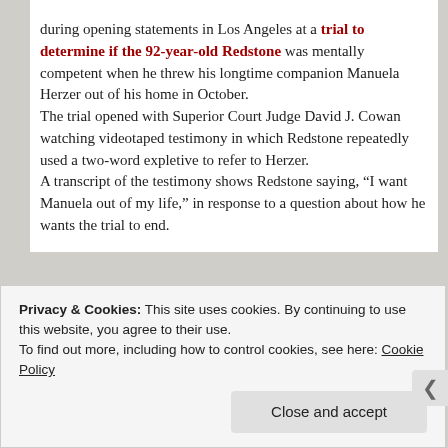during opening statements in Los Angeles at a trial to determine if the 92-year-old Redstone was mentally competent when he threw his longtime companion Manuela Herzer out of his home in October. The trial opened with Superior Court Judge David J. Cowan watching videotaped testimony in which Redstone repeatedly used a two-word expletive to refer to Herzer. A transcript of the testimony shows Redstone saying, “I want Manuela out of my life,” in response to a question about how he wants the trial to end.
[Figure (photo): Photo of a person at an event with red and teal decorative banners in the background]
Privacy & Cookies: This site uses cookies. By continuing to use this website, you agree to their use.
To find out more, including how to control cookies, see here: Cookie Policy
Close and accept